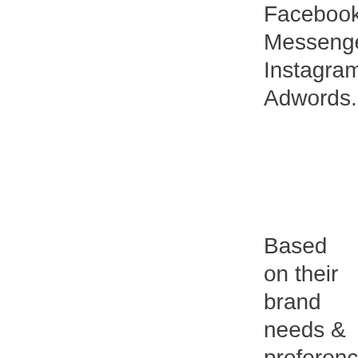Facebook, Messenger, Instagram, Adwords...
Based on their brand needs & preferences, you can reach out to